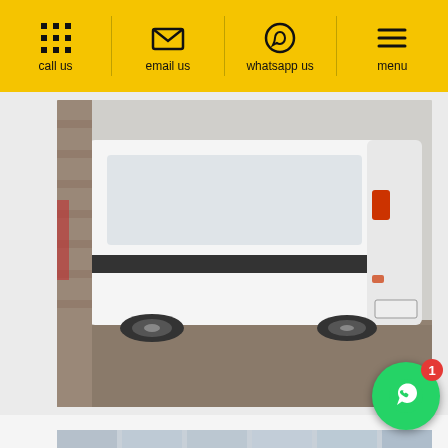call us | email us | whatsapp us | menu
[Figure (photo): White Otokar Sultan bus photographed from the rear-side angle in a parking area]
Otokar Sultan
from 140 AZN / daily
[Figure (photo): Black Mercedes-Benz van (Sprinter) parked in front of a Mercedes-Benz dealership showroom with logo visible on the glass facade]